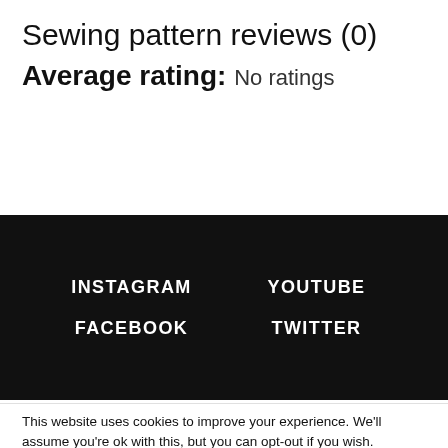Sewing pattern reviews (0)
Average rating:  No ratings
INSTAGRAM  YOUTUBE  FACEBOOK  TWITTER
This website uses cookies to improve your experience. We'll assume you're ok with this, but you can opt-out if you wish.
Cookie settings  ACCEPT